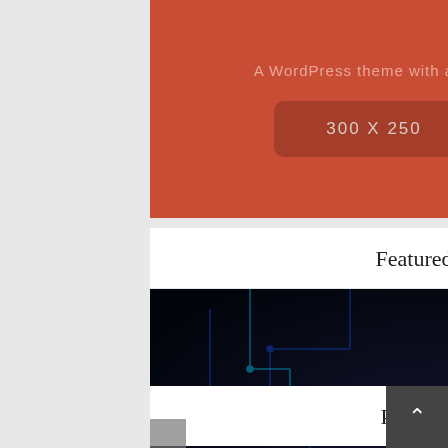[Figure (screenshot): Red advertisement block with text 'A WordPress theme with a twist' and a placeholder box showing '300 X 250' dimensions on a terracotta/red background]
Featured Posts
[Figure (screenshot): Featured Posts slider showing a dark sci-fi gaming themed image with circuit board background. White bold text reads 'GamingPlug – Mobile Gaming #1' with subtext '4 min read'. Left and right navigation arrows visible on sides.]
Photo Stream